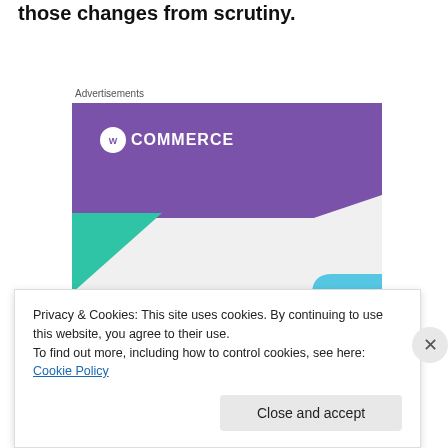those changes from scrutiny.
Advertisements
[Figure (illustration): WooCommerce advertisement banner showing the WooCommerce logo on a purple background with teal and blue decorative shapes, and text reading 'How to start selling subscriptions online']
Privacy & Cookies: This site uses cookies. By continuing to use this website, you agree to their use.
To find out more, including how to control cookies, see here: Cookie Policy